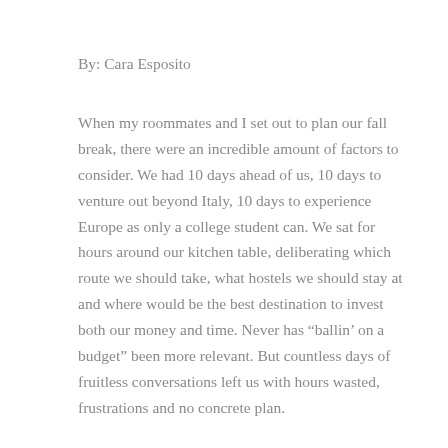By: Cara Esposito
When my roommates and I set out to plan our fall break, there were an incredible amount of factors to consider. We had 10 days ahead of us, 10 days to venture out beyond Italy, 10 days to experience Europe as only a college student can. We sat for hours around our kitchen table, deliberating which route we should take, what hostels we should stay at and where would be the best destination to invest both our money and time. Never has “ballin’ on a budget” been more relevant. But countless days of fruitless conversations left us with hours wasted, frustrations and no concrete plan.